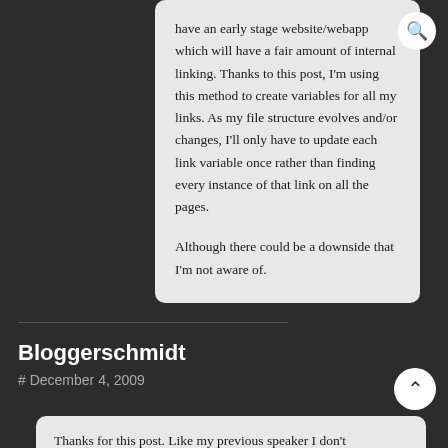have an early stage website/webapp which will have a fair amount of internal linking. Thanks to this post, I'm using this method to create variables for all my links. As my file structure evolves and/or changes, I'll only have to update each link variable once rather than finding every instance of that link on all the pages.

Although there could be a downside that I'm not aware of.
Bloggerschmidt
# December 4, 2009
Thanks for this post. Like my previous speaker I don't